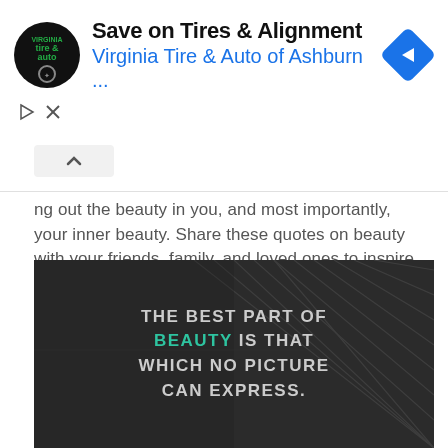[Figure (screenshot): Advertisement banner for Virginia Tire & Auto of Ashburn with logo, title 'Save on Tires & Alignment', blue subtitle, and navigation icon]
ng out the beauty in you, and most importantly, your inner beauty. Share these quotes on beauty with your friends, family, and loved ones to inspire them as well.
[Figure (photo): Dark background image with diagonal architectural lines, overlaid with quote text: 'THE BEST PART OF BEAUTY IS THAT WHICH NO PICTURE CAN EXPRESS.' where BEAUTY is highlighted in teal/green color.]